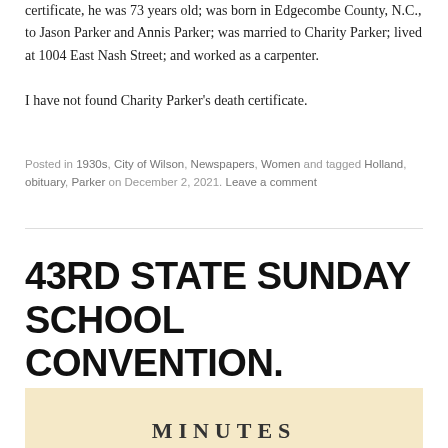certificate, he was 73 years old; was born in Edgecombe County, N.C., to Jason Parker and Annis Parker; was married to Charity Parker; lived at 1004 East Nash Street; and worked as a carpenter.
I have not found Charity Parker's death certificate.
Posted in 1930s, City of Wilson, Newspapers, Women and tagged Holland, obituary, Parker on December 2, 2021. Leave a comment
43RD STATE SUNDAY SCHOOL CONVENTION.
[Figure (photo): Aged document with 'MINUTES' text visible at bottom, yellowish/cream background]